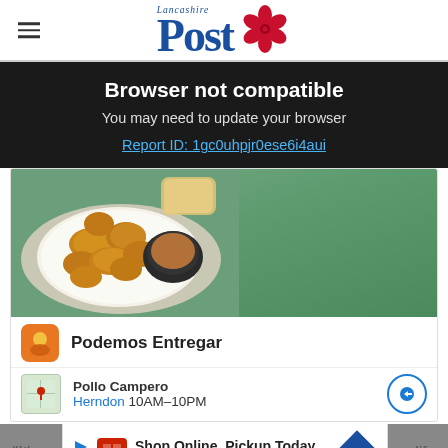Lancashire Post
Browser not compatible
You may need to update your browser
Report ID: 1gc0uhpjr0ese6i4aui
[Figure (photo): Food advertisement showing fried chicken pieces on a white plate with dipping sauce, served on a cloth napkin with bread in background]
Podemos Entregar
Pollo Campero Herndon 10AM–10PM
Shop Online, Pickup Today World Market